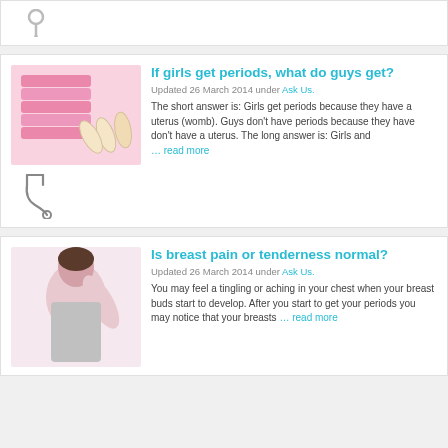[Figure (other): Partial stethoscope icon at top of page, cropped]
If girls get periods, what do guys get?
Updated 26 March 2014 under Ask Us.
[Figure (photo): Photo of pink feminine hygiene pads and tampons on a pink background]
The short answer is: Girls get periods because they have a uterus (womb). Guys don't have periods because they have don't have a uterus. The long answer is: Girls and … read more
[Figure (illustration): Stethoscope icon illustration]
Is breast pain or tenderness normal?
Updated 26 March 2014 under Ask Us.
[Figure (photo): Photo of a woman holding her arm up, touching her armpit/chest area, wearing a gray tank top]
You may feel a tingling or aching in your chest when your breast buds start to develop. After you start to get your periods you may notice that your breasts … read more